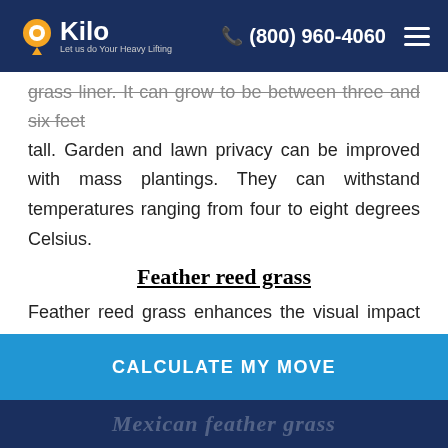Kilo — Let us do Your Heavy Lifting | (800) 960-4060
grass liner. It can grow to be between three and six feet tall. Garden and lawn privacy can be improved with mass plantings. They can withstand temperatures ranging from four to eight degrees Celsius.
Feather reed grass
Feather reed grass enhances the visual impact of gardens and can be used as a privacy screen. The 'Karl Foerster cultivar is especially well-liked. The green foliage turns to golden brown stalks that sway in the breeze at the base. It thrives in wet, swampy soils but can also withstand drought. Feather reed grass can be
CALCULATE MY MOVE
Mexican feather grass